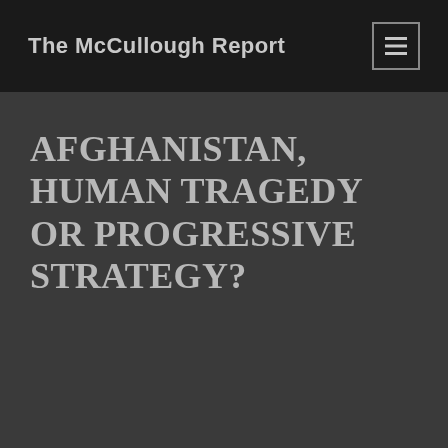The McCullough Report
AFGHANISTAN, HUMAN TRAGEDY OR PROGRESSIVE STRATEGY?